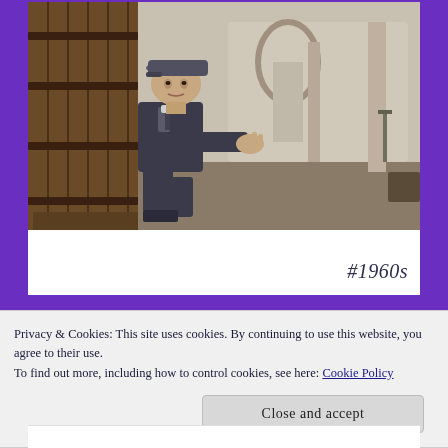[Figure (photo): A man in a flat cap and dark suit crouches beside a large wooden barrel in what appears to be an elegant interior hallway with arched columns, in a vintage 1960s film style.]
#1960s
Privacy & Cookies: This site uses cookies. By continuing to use this website, you agree to their use.
To find out more, including how to control cookies, see here: Cookie Policy
Close and accept